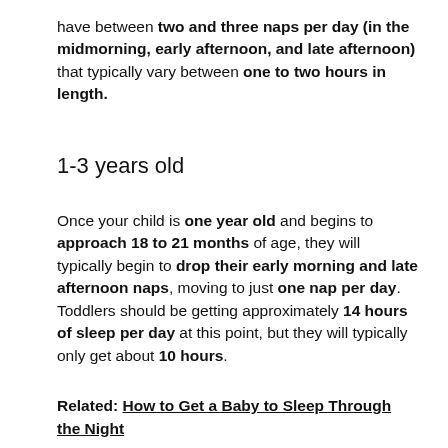have between two and three naps per day (in the midmorning, early afternoon, and late afternoon) that typically vary between one to two hours in length.
1-3 years old
Once your child is one year old and begins to approach 18 to 21 months of age, they will typically begin to drop their early morning and late afternoon naps, moving to just one nap per day. Toddlers should be getting approximately 14 hours of sleep per day at this point, but they will typically only get about 10 hours.
Related: How to Get a Baby to Sleep Through the Night
ARE THESE NUMBERS SURPRISING?